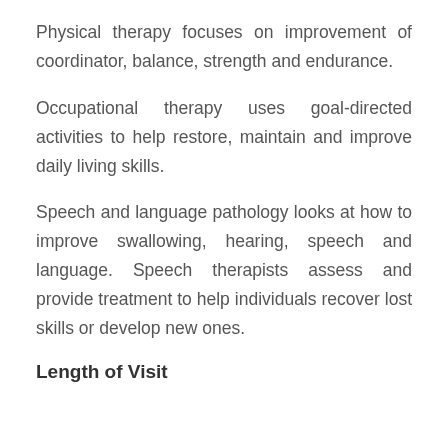Physical therapy focuses on improvement of coordinator, balance, strength and endurance.
Occupational therapy uses goal-directed activities to help restore, maintain and improve daily living skills.
Speech and language pathology looks at how to improve swallowing, hearing, speech and language. Speech therapists assess and provide treatment to help individuals recover lost skills or develop new ones.
Length of Visit